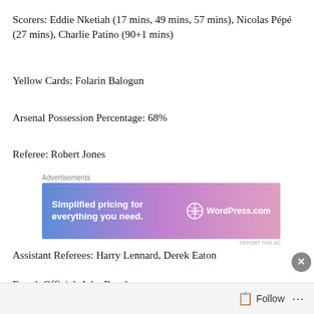Scorers: Eddie Nketiah (17 mins, 49 mins, 57 mins), Nicolas Pépé (27 mins), Charlie Patino (90+1 mins)
Yellow Cards: Folarin Balogun
Arsenal Possession Percentage: 68%
Referee: Robert Jones
[Figure (other): WordPress.com advertisement banner: 'Simplified pricing for everything you need.' with WordPress.com logo]
Assistant Referees: Harry Lennard, Derek Eaton
Fourth Official: John Brooks
[Figure (other): Pizza/food advertisement banner with ORDER button]
Follow